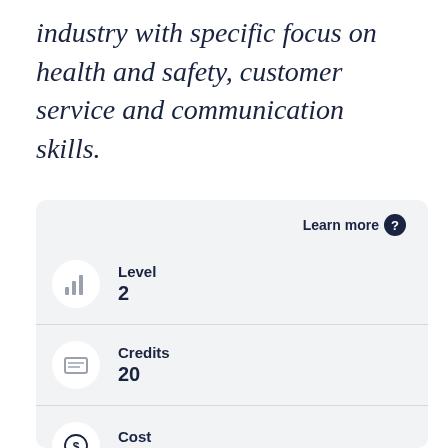industry with specific focus on health and safety, customer service and communication skills.
Learn more
Level
2
Credits
20
Cost
$0 NZ Domestic
EFTS